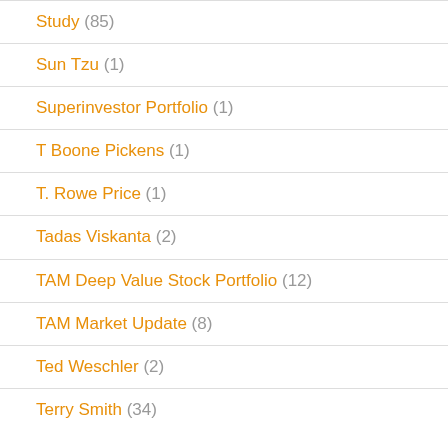Study (85)
Sun Tzu (1)
Superinvestor Portfolio (1)
T Boone Pickens (1)
T. Rowe Price (1)
Tadas Viskanta (2)
TAM Deep Value Stock Portfolio (12)
TAM Market Update (8)
Ted Weschler (2)
Terry Smith (34)